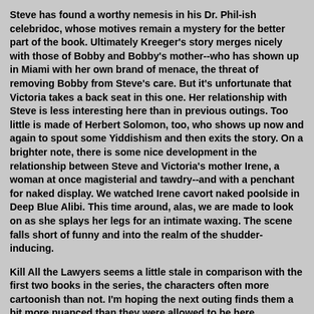Steve has found a worthy nemesis in his Dr. Phil-ish celebridoc, whose motives remain a mystery for the better part of the book. Ultimately Kreeger's story merges nicely with those of Bobby and Bobby's mother--who has shown up in Miami with her own brand of menace, the threat of removing Bobby from Steve's care. But it's unfortunate that Victoria takes a back seat in this one. Her relationship with Steve is less interesting here than in previous outings. Too little is made of Herbert Solomon, too, who shows up now and again to spout some Yiddishism and then exits the story. On a brighter note, there is some nice development in the relationship between Steve and Victoria's mother Irene, a woman at once magisterial and tawdry--and with a penchant for naked display. We watched Irene cavort naked poolside in Deep Blue Alibi. This time around, alas, we are made to look on as she splays her legs for an intimate waxing. The scene falls short of funny and into the realm of the shudder-inducing.
Kill All the Lawyers seems a little stale in comparison with the first two books in the series, the characters often more cartoonish than not. I'm hoping the next outing finds them a bit more nuanced than they were allowed to be here.
Seize the Daylight
David Prerau